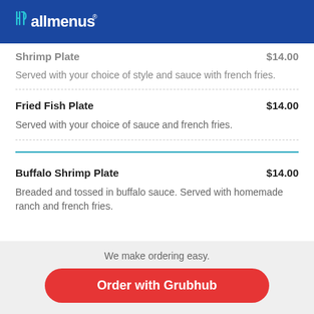allmenus
Shrimp Plate  $14.00
Served with your choice of style and sauce with french fries.
Fried Fish Plate  $14.00
Served with your choice of sauce and french fries.
Buffalo Shrimp Plate  $14.00
Breaded and tossed in buffalo sauce. Served with homemade ranch and french fries.
We make ordering easy.
Order with Grubhub